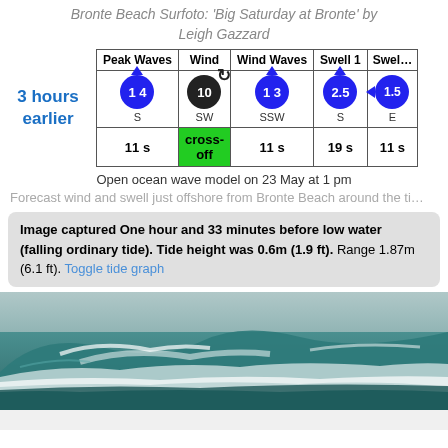Bronte Beach Surfoto: 'Big Saturday at Bronte' by Leigh Gazzard
|  | Peak Waves | Wind | Wind Waves | Swell 1 | Swell... |
| --- | --- | --- | --- | --- | --- |
| 3 hours earlier | 1 4 / S | 10 / SW | 1 3 / SSW | 2.5 / S | 1.5 / E |
|  | 11 s | cross-off | 11 s | 19 s | 11 s |
Open ocean wave model on 23 May at 1 pm
Forecast wind and swell just offshore from Bronte Beach around the ti...
Image captured One hour and 33 minutes before low water (falling ordinary tide). Tide height was 0.6m (1.9 ft). Range 1.87m (6.1 ft). Toggle tide graph
[Figure (photo): Ocean wave photo at Bronte Beach showing large breaking waves with white water and green sea]